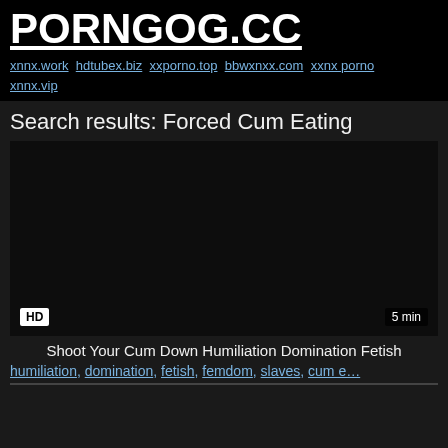PORNGOG.CC
xnnx.work hdtubex.biz xxporno.top bbwxnxx.com xxnx porno xnnx.vip
Search results: Forced Cum Eating
[Figure (screenshot): Dark video thumbnail with HD badge and 5 min duration label]
Shoot Your Cum Down Humiliation Domination Fetish
humiliation, domination, fetish, femdom, slaves, cum e…